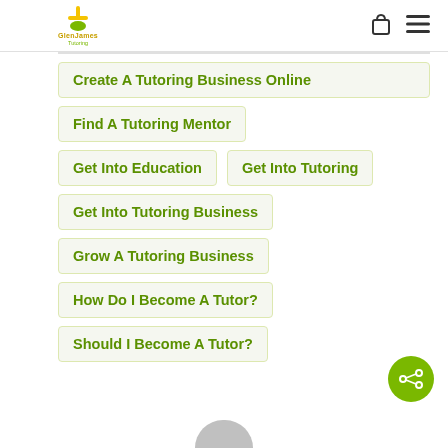GlenJames Tutoring — logo and navigation icons
Create A Tutoring Business Online
Find A Tutoring Mentor
Get Into Education
Get Into Tutoring
Get Into Tutoring Business
Grow A Tutoring Business
How Do I Become A Tutor?
Should I Become A Tutor?